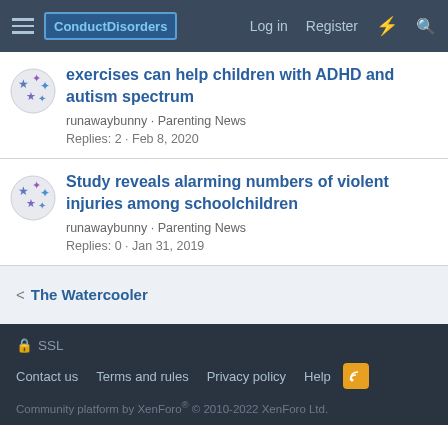ConductDisorders | Log in | Register
exercises can help children with ADHD and autism spectrum
runawaybunny · Parenting News
Replies: 2 · Feb 8, 2020
Study reveals alarming numbers of violent injuries among schoolchildren
runawaybunny · Parenting News
Replies: 0 · Jan 31, 2019
< The Watercooler
🔒 SSL
Contact us   Terms and rules   Privacy policy   Help
Community platform by XenForo® © 2010-2022 XenForo Ltd.